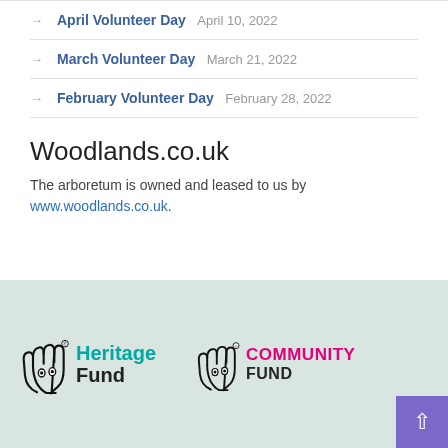April Volunteer Day April 10, 2022
March Volunteer Day March 21, 2022
February Volunteer Day February 28, 2022
Woodlands.co.uk
The arboretum is owned and leased to us by www.woodlands.co.uk.
[Figure (logo): National Lottery Heritage Fund and National Lottery Community Fund logos on a light green footer background]